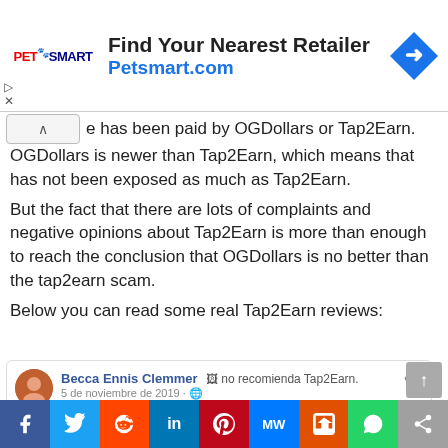[Figure (screenshot): PetSmart advertisement banner: 'Find Your Nearest Retailer Petsmart.com' with PetSmart logo on left and navigation arrow icon on right]
e has been paid by OGDollars or Tap2Earn. OGDollars is newer than Tap2Earn, which means that has not been exposed as much as Tap2Earn.
But the fact that there are lots of complaints and negative opinions about Tap2Earn is more than enough to reach the conclusion that OGDollars is no better than the tap2earn scam.
Below you can read some real Tap2Earn reviews:
[Figure (screenshot): Facebook review by Becca Ennis Clemmer: 'no recomienda Tap2Earn.' dated 5 de noviembre de 2019]
[Figure (screenshot): Social sharing bar with Facebook, Twitter, Reddit, LinkedIn, Pinterest, MW, Mix, WhatsApp, and share icons]